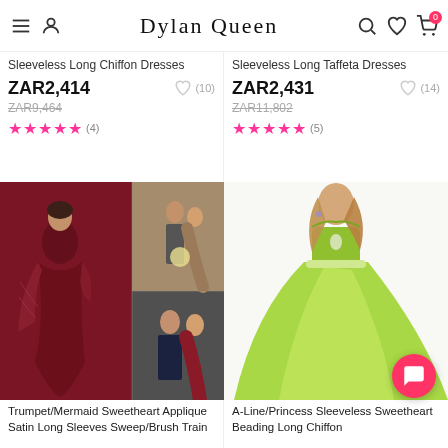Dylan Queen
Sleeveless Long Chiffon Dresses
ZAR2,414  (10)
ZAR9,464
★★★★★ (4)
Sleeveless Long Taffeta Dresses
ZAR2,431  (14)
ZAR11,802
★★★★★ (5)
[Figure (photo): Collage of models wearing dark red/burgundy long dresses — a woman in a mermaid gown with lace sleeves, a couple posing, and a couple embracing]
[Figure (photo): Model wearing an A-line/princess lime green sleeveless sweetheart chiffon gown]
Trumpet/Mermaid Sweetheart Applique Satin Long Sleeves Sweep/Brush Train
A-Line/Princess Sleeveless Sweetheart Beading Long Chiffon